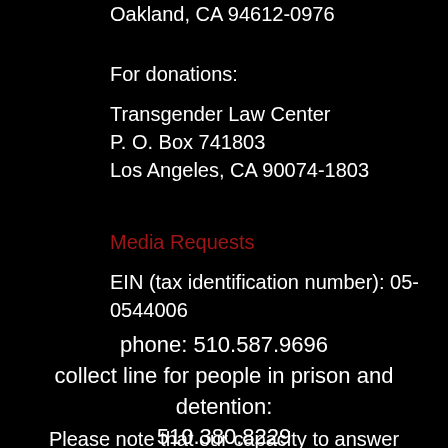Oakland, CA 94612-0976
For donations:
Transgender Law Center
P. O. Box 741803
Los Angeles, CA 90074-1803
Media Requests
EIN (tax identification number): 05-0544006
phone: 510.587.9696
collect line for people in prison and detention:
510.380.8229
Please note that our capacity to answer calls is unfortunately limited; we encourage people to call between 10am and 5pm Pacific time and/or